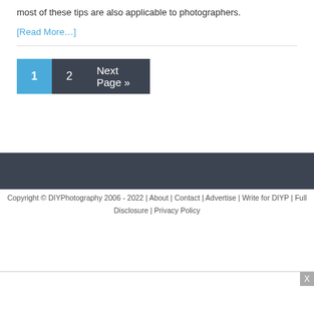most of these tips are also applicable to photographers.
[Read More…]
1  2  Next Page »
Copyright © DIYPhotography 2006 - 2022 | About | Contact | Advertise | Write for DIYP | Full Disclosure | Privacy Policy